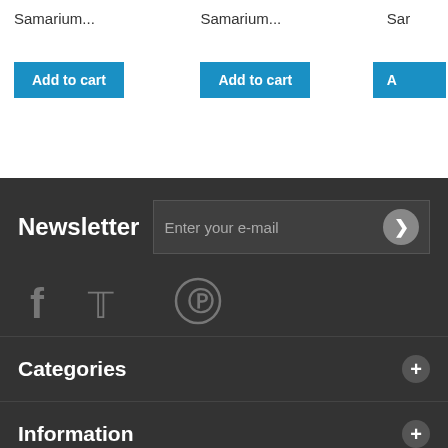Samarium...
Samarium...
Sar...
Add to cart
Add to cart
A...
Newsletter
Enter your e-mail
[Figure (infographic): Social media icons: Facebook, Twitter, Pinterest]
Categories
Information
My account